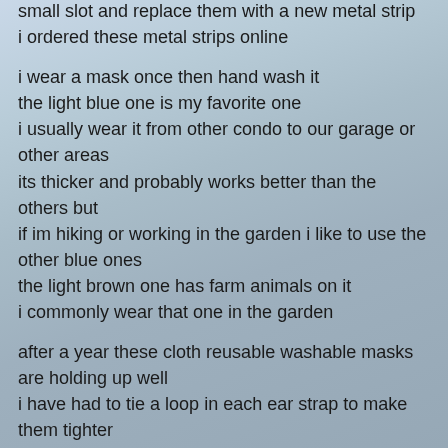small slot and replace them with a new metal strip
i ordered these metal strips online
i wear a mask once then hand wash it
the light blue one is my favorite one
i usually wear it from other condo to our garage or other areas
its thicker and probably works better than the others but
if im hiking or working in the garden i like to use the other blue ones
the light brown one has farm animals on it
i commonly wear that one in the garden
after a year these cloth reusable washable masks are holding up well
i have had to tie a loop in each ear strap to make them tighter
if your glasses are fogging up the mask isnt working like it should
so
i am glad i ended up with these heirloom masks